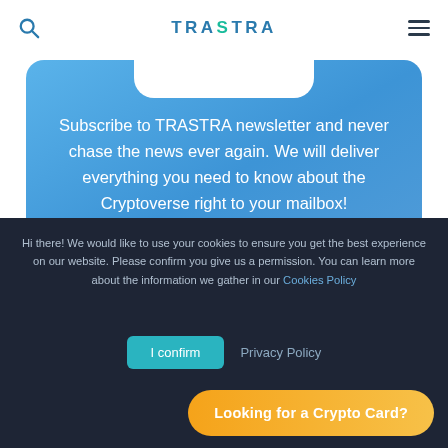TRASTRA
[Figure (screenshot): Blue gradient card with white notch cutout at top and newsletter subscription text]
Subscribe to TRASTRA newsletter and never chase the news ever again. We will deliver everything you need to know about the Cryptoverse right to your mailbox!
Hi there! We would like to use your cookies to ensure you get the best experience on our website. Please confirm you give us a permission. You can learn more about the information we gather in our Cookies Policy
I confirm  Privacy Policy
Looking for a Crypto Card?